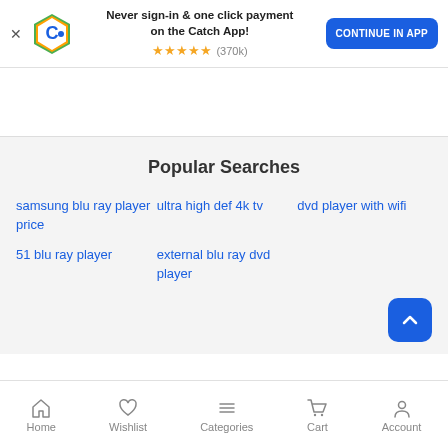[Figure (screenshot): Catch app promotional banner with logo, text and continue button]
Popular Searches
samsung blu ray player price
ultra high def 4k tv
dvd player with wifi
51 blu ray player
external blu ray dvd player
Home  Wishlist  Categories  Cart  Account